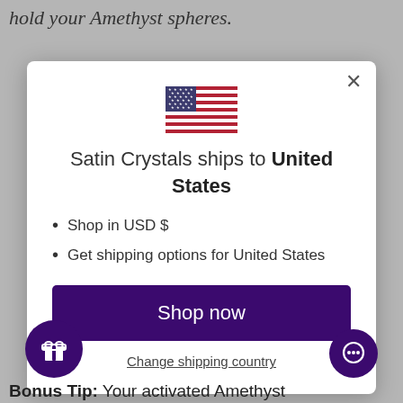hold your Amethyst spheres.
[Figure (illustration): US flag emoji / icon]
Satin Crystals ships to United States
Shop in USD $
Get shipping options for United States
Shop now
Change shipping country
Bonus Tip: Your activated Amethyst